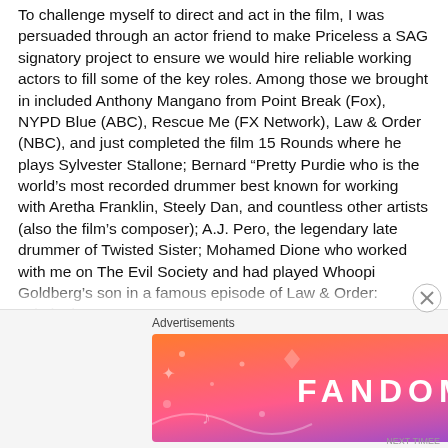To challenge myself to direct and act in the film, I was persuaded through an actor friend to make Priceless a SAG signatory project to ensure we would hire reliable working actors to fill some of the key roles. Among those we brought in included Anthony Mangano from Point Break (Fox), NYPD Blue (ABC), Rescue Me (FX Network), Law & Order (NBC), and just completed the film 15 Rounds where he plays Sylvester Stallone; Bernard “Pretty Purdie who is the world’s most recorded drummer best known for working with Aretha Franklin, Steely Dan, and countless other artists (also the film’s composer); A.J. Pero, the legendary late drummer of Twisted Sister; Mohamed Dione who worked with me on The Evil Society and had played Whoopi Goldberg’s son in a famous episode of Law & Order: Criminal Intent;
Advertisements
[Figure (other): Fandom on Tumblr advertisement banner with colorful gradient background (orange to purple) featuring the text FANDOM ON tumblr with decorative icons]